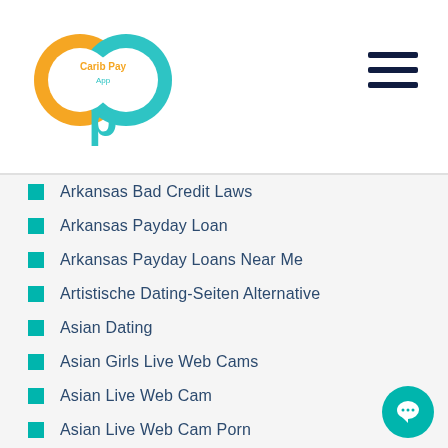[Figure (logo): Carib Pay App logo — interlocking orange and teal circles with 'Carib Pay App' text and a teal letter P below]
Arkansas Bad Credit Laws
Arkansas Payday Loan
Arkansas Payday Loans Near Me
Artistische Dating-Seiten Alternative
Asian Dating
Asian Girls Live Web Cams
Asian Live Web Cam
Asian Live Web Cam Porn
AsianBabeCams Live Sex
AsianCamModels Live Webcam
Asiandate Login